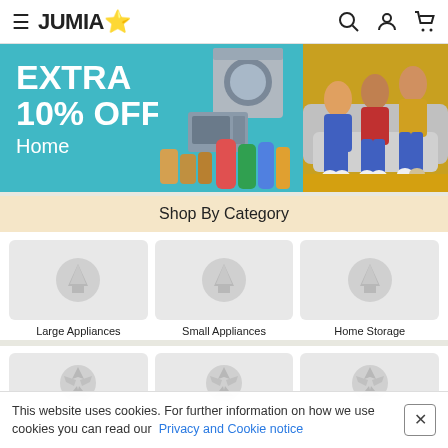JUMIA (logo with star) — navigation header with menu, search, account, cart icons
[Figure (screenshot): Promotional banner: EXTRA 10% OFF Home — teal background with product images (washing machine, microwave, cleaning products, jars) and family sitting on sofa on yellow background]
Shop By Category
[Figure (infographic): Category grid row 1: Large Appliances, Small Appliances, Home Storage — each with grey placeholder box and star icon]
Large Appliances
Small Appliances
Home Storage
[Figure (infographic): Category grid row 2 (partial): three more category placeholder boxes visible, partially cut off at bottom]
This website uses cookies. For further information on how we use cookies you can read our Privacy and Cookie notice